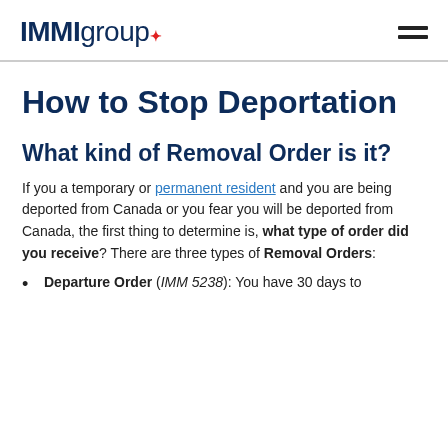IMMIgroup
How to Stop Deportation
What kind of Removal Order is it?
If you a temporary or permanent resident and you are being deported from Canada or you fear you will be deported from Canada, the first thing to determine is, what type of order did you receive? There are three types of Removal Orders:
Departure Order (IMM 5238): You have 30 days to